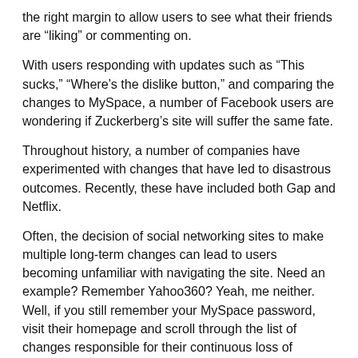the right margin to allow users to see what their friends are “liking” or commenting on.
With users responding with updates such as “This sucks,” “Where’s the dislike button,” and comparing the changes to MySpace, a number of Facebook users are wondering if Zuckerberg’s site will suffer the same fate.
Throughout history, a number of companies have experimented with changes that have led to disastrous outcomes. Recently, these have included both Gap and Netflix.
Often, the decision of social networking sites to make multiple long-term changes can lead to users becoming unfamiliar with navigating the site. Need an example? Remember Yahoo360? Yeah, me neither. Well, if you still remember your MySpace password, visit their homepage and scroll through the list of changes responsible for their continuous loss of membership.
Since the original launch of Facebook in 2004, the social network has added numerous changes to its site. However, with plans to create a timeline and update its “Like” button through Facebook Gestures, I feel its recent six million losses in users may continue to get worse in coming years. As more and more social